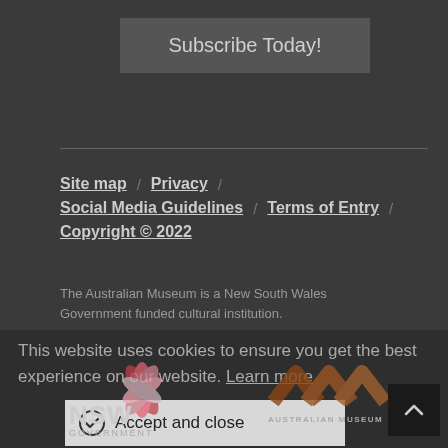Subscribe Today!
Site map / Privacy / Social Media Guidelines / Terms of Entry / Copyright © 2022
The Australian Museum is a New South Wales Government funded cultural institution.
This website uses cookies to ensure you get the best experience on our website. Learn more
Accept and close
[Figure (logo): NSW Government logo with stylized red/pink flower and text NSW GOVERNMENT]
[Figure (logo): Australian Museum logo with brown chevron/arrow shapes and text AUSTRALIAN MUSEUM]